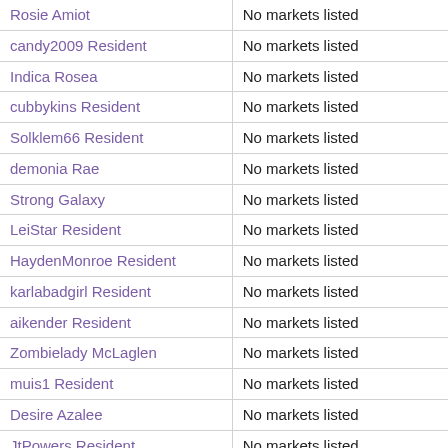| Rosie Amiot | No markets listed |
| candy2009 Resident | No markets listed |
| Indica Rosea | No markets listed |
| cubbykins Resident | No markets listed |
| Solklem66 Resident | No markets listed |
| demonia Rae | No markets listed |
| Strong Galaxy | No markets listed |
| LeiStar Resident | No markets listed |
| HaydenMonroe Resident | No markets listed |
| karlabadgirl Resident | No markets listed |
| aikender Resident | No markets listed |
| Zombielady McLaglen | No markets listed |
| muis1 Resident | No markets listed |
| Desire Azalee | No markets listed |
| JtPowers Resident | No markets listed |
| mark80 Bracula | No markets listed |
| wild Moonwall | No markets listed |
| Cloud Cascarino | No markets listed |